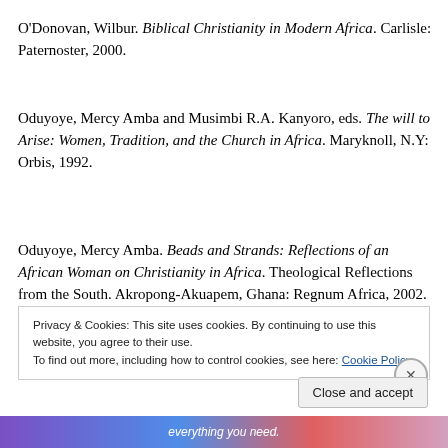O'Donovan, Wilbur. Biblical Christianity in Modern Africa. Carlisle: Paternoster, 2000.
Oduyoye, Mercy Amba and Musimbi R.A. Kanyoro, eds. The will to Arise: Women, Tradition, and the Church in Africa. Maryknoll, N.Y: Orbis, 1992.
Oduyoye, Mercy Amba. Beads and Strands: Reflections of an African Woman on Christianity in Africa. Theological Reflections from the South. Akropong-Akuapem, Ghana: Regnum Africa, 2002.
Privacy & Cookies: This site uses cookies. By continuing to use this website, you agree to their use. To find out more, including how to control cookies, see here: Cookie Policy